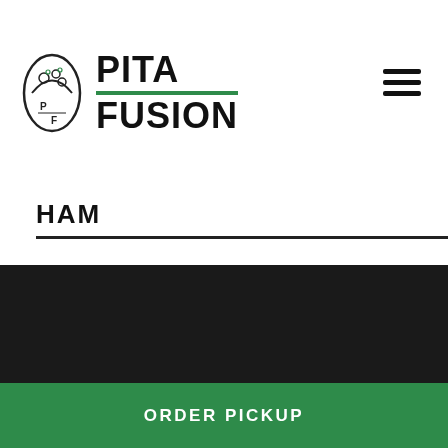[Figure (logo): Pita Fusion logo with pita wrap icon and bold text reading PITA FUSION with a green horizontal line between the two words]
HAM
CULT FAVORITES
ORDER PICKUP
ORDER DELIVERY